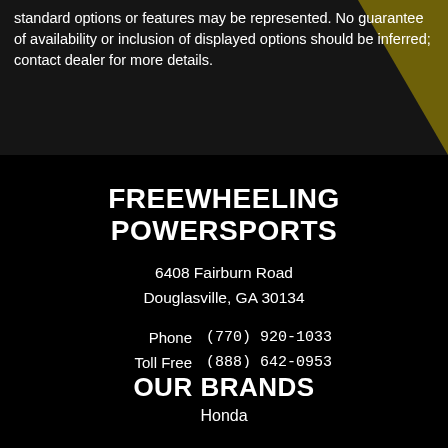standard options or features may be represented. No guarantee of availability or inclusion of displayed options should be inferred; contact dealer for more details.
FREEWHEELING POWERSPORTS
6408 Fairburn Road
Douglasville, GA 30134
Phone    (770) 920-1033
Toll Free    (888) 642-0953
Service         (770) 920-1033
Location & Hours
OUR BRANDS
Honda